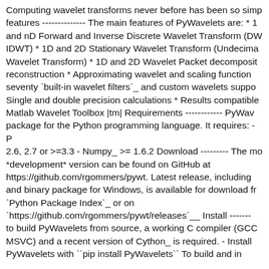Computing wavelet transforms never before has been so simple features ------------- The main features of PyWavelets are: * 1 and nD Forward and Inverse Discrete Wavelet Transform (DW IDWT) * 1D and 2D Stationary Wavelet Transform (Undecima Wavelet Transform) * 1D and 2D Wavelet Packet decomposit reconstruction * Approximating wavelet and scaling function seventy `built-in wavelet filters`_ and custom wavelets suppo Single and double precision calculations * Results compatible Matlab Wavelet Toolbox |tm| Requirements ------------ PyWav package for the Python programming language. It requires: - P 2.6, 2.7 or >=3.3 - Numpy_ >= 1.6.2 Download --------- The mo *development* version can be found on GitHub at https://github.com/rgommers/pywt. Latest release, including and binary package for Windows, is available for download fr `Python Package Index`_ or on `https://github.com/rgommers/pywt/releases`__ Install ------- to build PyWavelets from source, a working C compiler (GCC MSVC) and a recent version of Cython_ is required. - Install PyWavelets with ``pip install PyWavelets`` To build and in